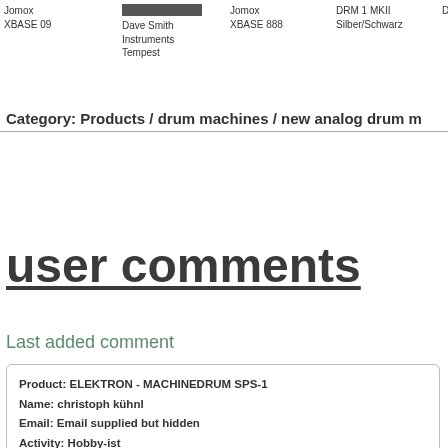Jomox XBASE 09
[Figure (photo): Product image thumbnail]
Dave Smith Instruments Tempest
Jomox XBASE 888
DRM 1 MKII Silber/Schwarz
DRM 1 MK
Category:  Products / drum machines / new analog drum m
user comments
Last added comment
Product:  ELEKTRON - MACHINEDRUM SPS-1
Name: christoph kühnl
Email: Email supplied but hidden
Activity: Hobby-ist